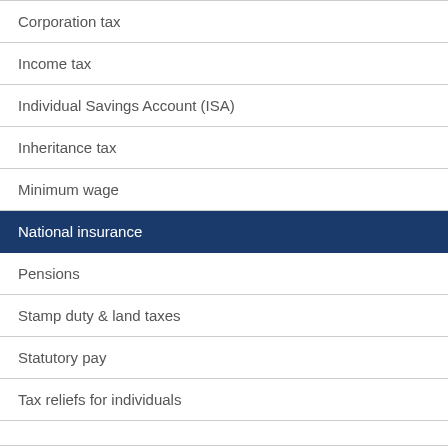Corporation tax
Income tax
Individual Savings Account (ISA)
Inheritance tax
Minimum wage
National insurance
Pensions
Stamp duty & land taxes
Statutory pay
Tax reliefs for individuals
Value added tax